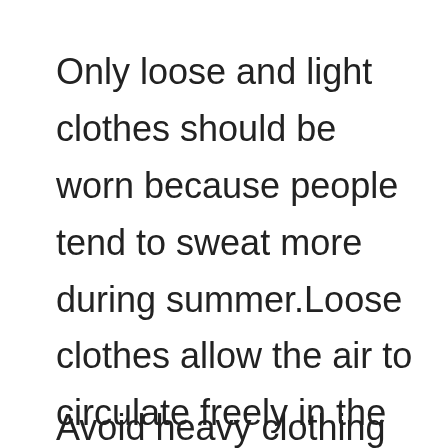Only loose and light clothes should be worn because people tend to sweat more during summer.Loose clothes allow the air to circulate freely in the body and the lightness of the clothes helps to dry the sweat soon.
Avoid heavy clothing like